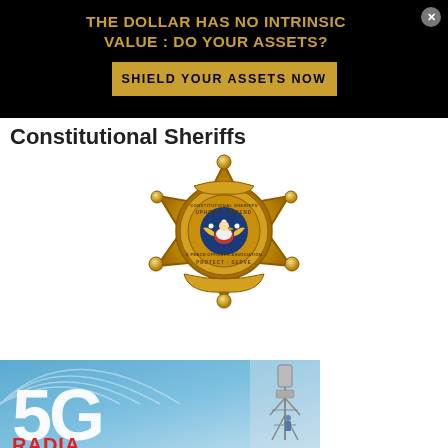[Figure (infographic): Black advertisement banner with gold text: 'THE DOLLAR HAS NO INTRINSIC VALUE : DO YOUR ASSETS?' and a gold button reading 'SHIELD YOUR ASSETS NOW'. Has a close button (x) in top right.]
Constitutional Sheriffs
[Figure (logo): Gold sheriff badge logo for Constitutional Sheriffs & Peace Officers Association. Star-shaped badge with text 'UPHOLD - DEFEND CONSTITUTIONAL SHERIFFS & PEACE OFFICERS ASSOCIATION PROTECT - SERVE' and an eagle emblem in the center.]
[Figure (infographic): Partial banner image showing '5G' in large white text against a blue background with concentric radio wave arcs and a cell tower, with red text partially visible at bottom reading 'RADIATION' or similar.]